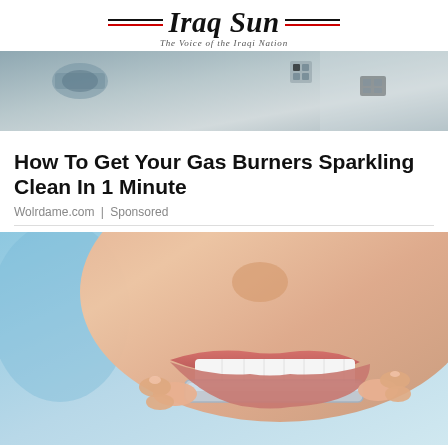Iraq Sun — The Voice of the Iraqi Nation
[Figure (photo): Top banner image showing blurred car interior or surface with geometric shapes]
How To Get Your Gas Burners Sparkling Clean In 1 Minute
Wolrdame.com | Sponsored
[Figure (photo): Close-up photo of a woman inserting a clear dental aligner/retainer tray into her mouth, showing white teeth and hands holding the clear tray]